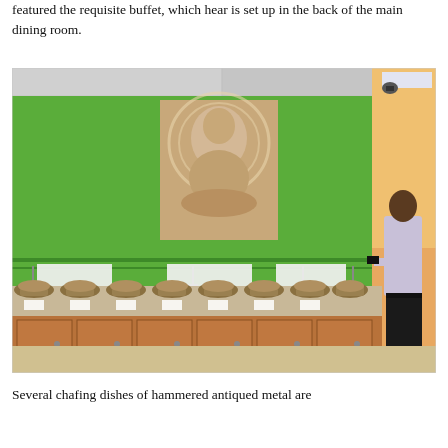featured the requisite buffet, which hear is set up in the back of the main dining room.
[Figure (photo): Interior photo of a restaurant buffet line with a bright green wall. Several large hammered bronze/gold chafing dishes are arranged on a granite countertop with wood cabinetry below. A painting of a meditating Buddha figure hangs prominently on the green wall. A man in a white shirt stands at the far right of the buffet. Heat lamp holders are mounted on the green wall above the buffet.]
Several chafing dishes of hammered antiqued metal are